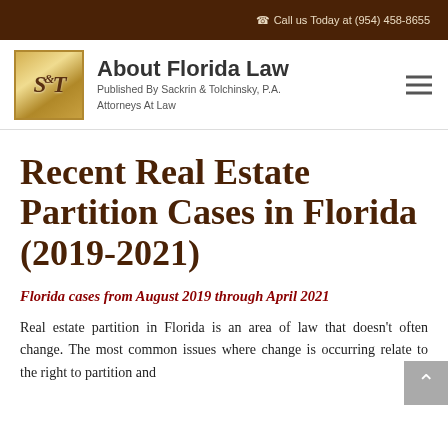Call us Today at (954) 458-8655
[Figure (logo): S&T gold logo box for Sackrin & Tolchinsky law firm]
About Florida Law
Published By Sackrin & Tolchinsky, P.A.
Attorneys At Law
Recent Real Estate Partition Cases in Florida (2019-2021)
Florida cases from August 2019 through April 2021
Real estate partition in Florida is an area of law that doesn't often change. The most common issues where change is occurring relate to the right to partition and